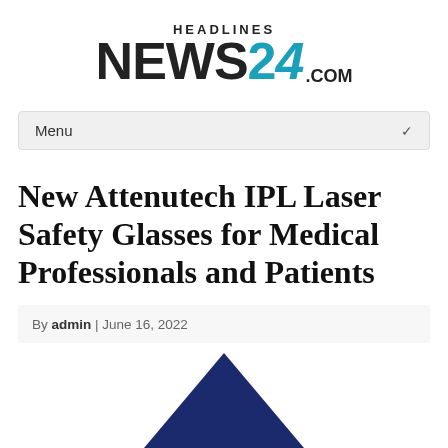[Figure (logo): Headlines News24.com logo — HEADLINES in small caps above large NEWS24 with teal/cyan colored 24, followed by .com]
[Figure (screenshot): Menu navigation dropdown bar with 'Menu' label and chevron dropdown arrow]
New Attenutech IPL Laser Safety Glasses for Medical Professionals and Patients
By admin | June 16, 2022
[Figure (photo): Partial view of a dark navy blue triangular/arrow shape at the bottom of the page, likely part of the Attenutech logo or product image]